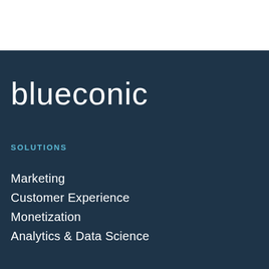[Figure (logo): Blueconic company logo — wordmark in white lowercase letters on dark navy background]
SOLUTIONS
Marketing
Customer Experience
Monetization
Analytics & Data Science